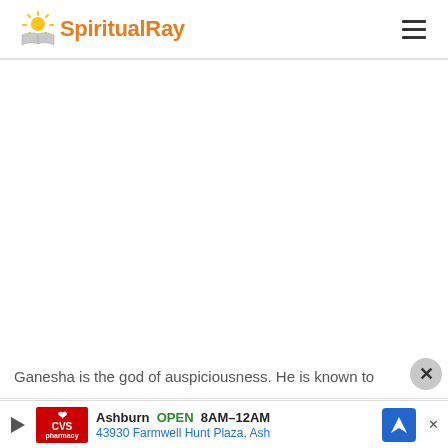SpiritualRay
[Figure (other): Large white/blank content area below header (advertisement or image placeholder)]
Ganesha is the god of auspiciousness. He is known to
[Figure (other): Advertisement banner: CVS Pharmacy - Ashburn OPEN 8AM-12AM, 43930 Farmwell Hunt Plaza, Ash]